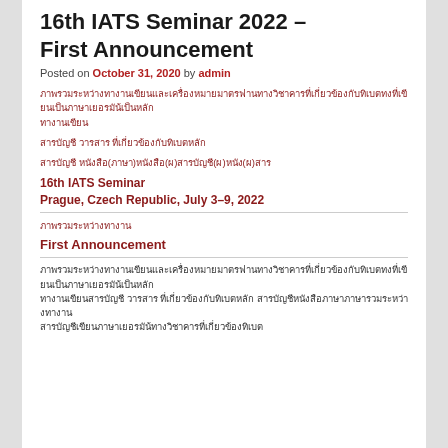16th IATS Seminar 2022 – First Announcement
Posted on October 31, 2020 by admin
Thai text block 1 (link text in Thai characters)
Thai text block 2
Thai text block 3
16th IATS Seminar
Prague, Czech Republic, July 3–9, 2022
Thai text link block
First Announcement
Thai body text paragraph